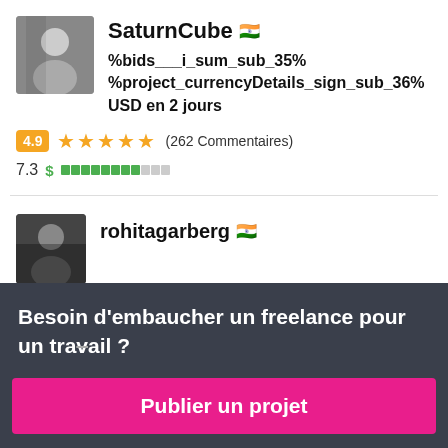SaturnCube 🇮🇳
%bids___i_sum_sub_35% %project_currencyDetails_sign_sub_36% USD en 2 jours
4.9 ★★★★★ (262 Commentaires)
7.3 $ ████████░░░
rohitagarberg 🇮🇳
Besoin d'embaucher un freelance pour un travail ?
Publier un projet